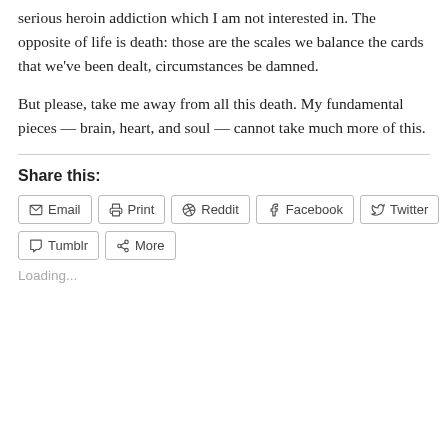serious heroin addiction which I am not interested in. The opposite of life is death: those are the scales we balance the cards that we've been dealt, circumstances be damned.
But please, take me away from all this death. My fundamental pieces — brain, heart, and soul — cannot take much more of this.
Share this:
Email
Print
Reddit
Facebook
Twitter
Tumblr
More
Loading...